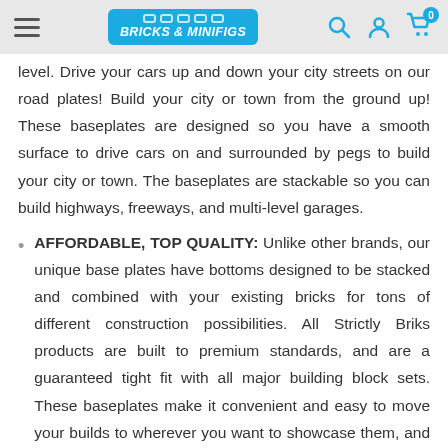Bricks & Minifigs
level. Drive your cars up and down your city streets on our road plates! Build your city or town from the ground up! These baseplates are designed so you have a smooth surface to drive cars on and surrounded by pegs to build your city or town. The baseplates are stackable so you can build highways, freeways, and multi-level garages.
AFFORDABLE, TOP QUALITY: Unlike other brands, our unique base plates have bottoms designed to be stacked and combined with your existing bricks for tons of different construction possibilities. All Strictly Briks products are built to premium standards, and are a guaranteed tight fit with all major building block sets. These baseplates make it convenient and easy to move your builds to wherever you want to showcase them, and will keep your family imagining